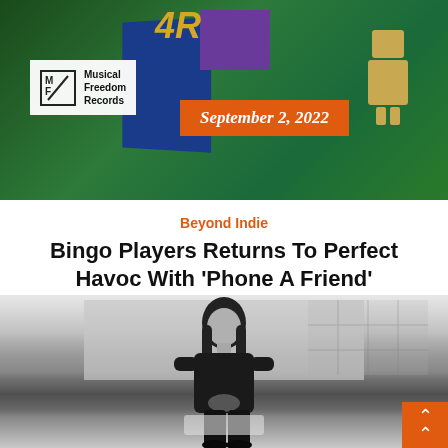[Figure (photo): Banner image for Musical Freedom Records showing a blue 3D block with gold chain/pendant reading '4R', a purple block, and a cardboard robot figure on a green background. Includes Musical Freedom Records logo and orange date badge.]
Beyond Indie
Bingo Players Returns To Perfect Havoc With 'Phone A Friend'
[Figure (photo): Black and white photo of a person with long hair wearing dark clothing, sitting on a ledge or surface near a window, hands clasped, looking at camera.]